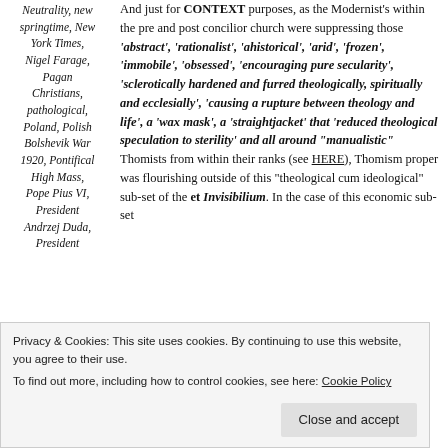Neutrality, new springtime, New York Times, Nigel Farage, Pagan Christians, pathological, Poland, Polish Bolshevik War 1920, Pontifical High Mass, Pope Pius VI, President Andrzej Duda, President
And just for CONTEXT purposes, as the Modernist's within the pre and post concilior church were suppressing those 'abstract', 'rationalist', 'ahistorical', 'arid', 'frozen', 'immobile', 'obsessed', 'encouraging pure secularity', 'sclerotically hardened and furred theologically, spiritually and ecclesially', 'causing a rupture between theology and life', a 'wax mask', a 'straightjacket' that 'reduced theological speculation to sterility' and all around "manualistic" Thomists from within their ranks (see HERE), Thomism proper was flourishing outside of this "theological cum ideological" sub-set of the et Invisibilium. In the case of this economic sub-set
Privacy & Cookies: This site uses cookies. By continuing to use this website, you agree to their use. To find out more, including how to control cookies, see here: Cookie Policy
Close and accept